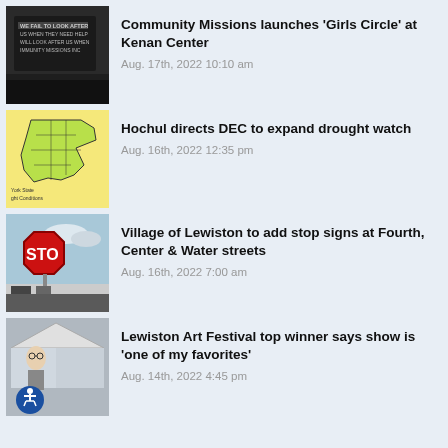Community Missions launches 'Girls Circle' at Kenan Center
Aug. 17th, 2022 10:10 am
Hochul directs DEC to expand drought watch
Aug. 16th, 2022 12:35 pm
Village of Lewiston to add stop signs at Fourth, Center & Water streets
Aug. 16th, 2022 7:00 am
Lewiston Art Festival top winner says show is 'one of my favorites'
Aug. 14th, 2022 4:45 pm